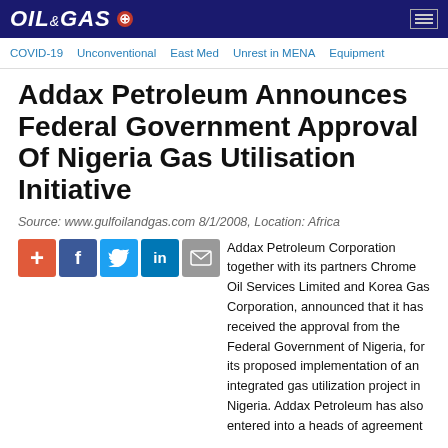OIL & GAS
COVID-19 | Unconventional | East Med | Unrest in MENA | Equipment
Addax Petroleum Announces Federal Government Approval Of Nigeria Gas Utilisation Initiative
Source: www.gulfoilandgas.com 8/1/2008, Location: Africa
Addax Petroleum Corporation together with its partners Chrome Oil Services Limited and Korea Gas Corporation, announced that it has received the approval from the Federal Government of Nigeria, for its proposed implementation of an integrated gas utilization project in Nigeria. Addax Petroleum has also entered into a heads of agreement